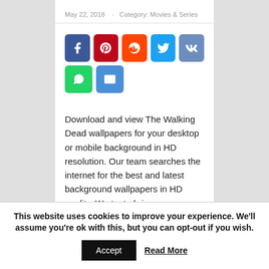May 22, 2018   ·  Category: Movies & Series
[Figure (infographic): Social share buttons: Facebook, Pinterest, Reddit, Twitter, VK, WhatsApp, Email]
Download and view The Walking Dead wallpapers for your desktop or mobile background in HD resolution. Our team searches the internet for the best and latest background wallpapers in HD quality. We try to bring you new posts about interesting or popular subjects containing new quality wallpapers every
This website uses cookies to improve your experience. We'll assume you're ok with this, but you can opt-out if you wish.
Accept   Read More